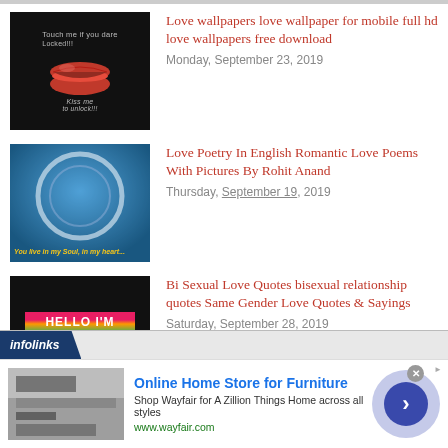Love wallpapers love wallpaper for mobile full hd love wallpapers free download
Monday, September 23, 2019
Love Poetry In English Romantic Love Poems With Pictures By Rohit Anand
Thursday, September 19, 2019
Bi Sexual Love Quotes bisexual relationship quotes Same Gender Love Quotes & Sayings
Saturday, September 28, 2019
[Figure (screenshot): Advertisement banner: Online Home Store for Furniture - Shop Wayfair for A Zillion Things Home across all styles, www.wayfair.com, with infolinks branding and navigation arrow]